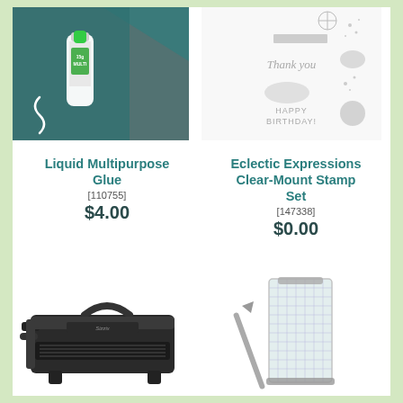[Figure (photo): Tube of Liquid Multipurpose Glue on teal cutting mat background]
[Figure (photo): Eclectic Expressions Clear-Mount Stamp Set showing various stamp images including Thank you and Happy Birthday text]
Liquid Multipurpose Glue
[110755]
$4.00
Eclectic Expressions Clear-Mount Stamp Set
[147338]
$0.00
[Figure (photo): Black Sizzix Big Shot die cutting machine]
[Figure (photo): Clear transparent acrylic stamp block with ruler/scoring tool]